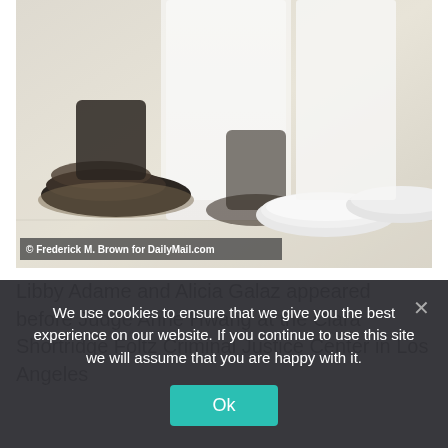[Figure (photo): Close-up photo of feet and lower legs on a light-colored floor. On the left, dark Gucci espadrille platform shoes with an ankle strap. In the center and right, white wide-leg pants with white sneakers. Photo credit watermark reads: © Frederick M. Brown for DailyMail.com]
© Frederick M. Brown for DailyMail.com
Libby Adame and Alicia Galaz appeared before Judge Anne Hwang at the Clara Shortridge Foltz Criminal Justice Center in Los Angeles
We use cookies to ensure that we give you the best experience on our website. If you continue to use this site we will assume that you are happy with it.